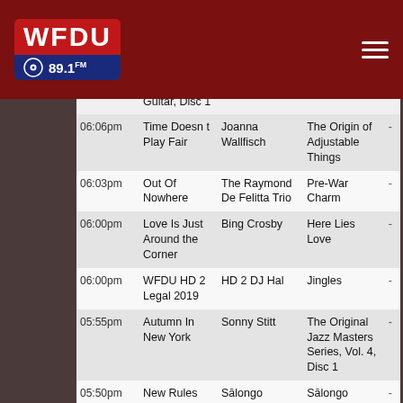WFDU 89.1FM
| Time | Song | Artist | Album |  |
| --- | --- | --- | --- | --- |
|  | Guitar, Disc 1 |  |  | - |
| 06:06pm | Time Doesn t Play Fair | Joanna Wallfisch | The Origin of Adjustable Things | - |
| 06:03pm | Out Of Nowhere | The Raymond De Felitta Trio | Pre-War Charm | - |
| 06:00pm | Love Is Just Around the Corner | Bing Crosby | Here Lies Love | - |
| 06:00pm | WFDU HD 2 Legal 2019 | HD 2 DJ Hal | Jingles | - |
| 05:55pm | Autumn In New York | Sonny Stitt | The Original Jazz Masters Series, Vol. 4, Disc 1 | - |
| 05:50pm | New Rules | Sālongo | Sālongo | - |